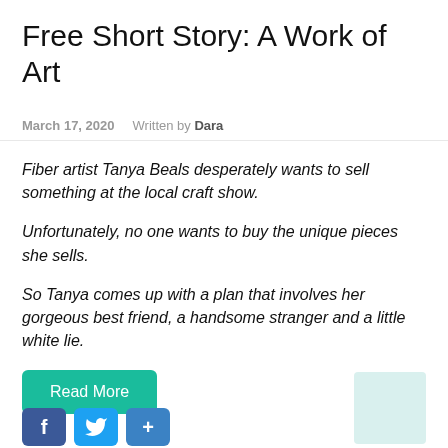Free Short Story: A Work of Art
March 17, 2020    Written by Dara
Fiber artist Tanya Beals desperately wants to sell something at the local craft show.
Unfortunately, no one wants to buy the unique pieces she sells.
So Tanya comes up with a plan that involves her gorgeous best friend, a handsome stranger and a little white lie.
Read More